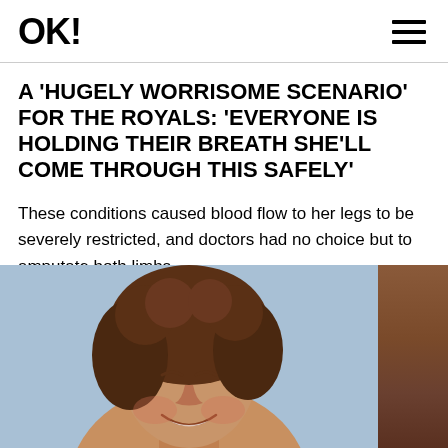OK!
A 'HUGELY WORRISOME SCENARIO' FOR THE ROYALS: 'EVERYONE IS HOLDING THEIR BREATH SHE'LL COME THROUGH THIS SAFELY'
These conditions caused blood flow to her legs to be severely restricted, and doctors had no choice but to amputate both limbs.
[Figure (photo): Young woman with curly brown hair smiling, photographed outdoors against a light blue sky background. Warm golden/amber tones on skin. A darker brown panel visible on the right side of the image.]